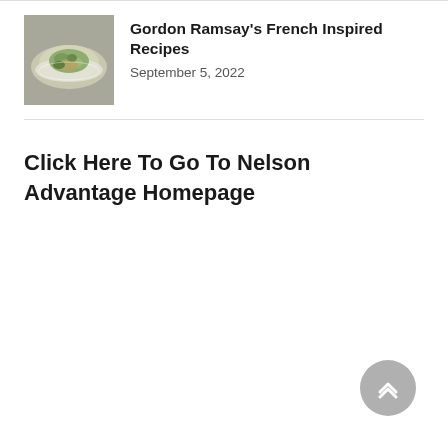[Figure (photo): Thumbnail image of a French-inspired dish with greens on a white plate]
Gordon Ramsay's French Inspired Recipes
September 5, 2022
Click Here To Go To Nelson Advantage Homepage